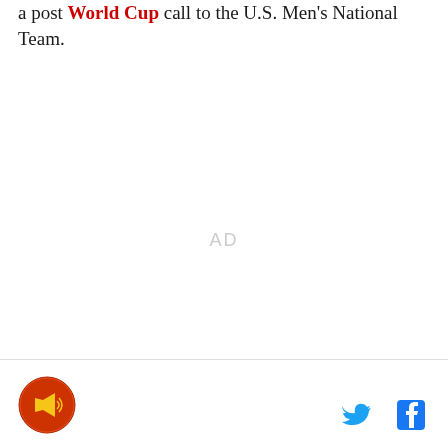a post World Cup call to the U.S. Men's National Team.
[Figure (other): Advertisement placeholder with text 'AD']
[Figure (logo): SB Nation / Axios megaphone logo in circular badge, orange and gold colors]
[Figure (other): Twitter bird icon (blue) and Facebook 'f' icon (dark blue) as social sharing buttons]